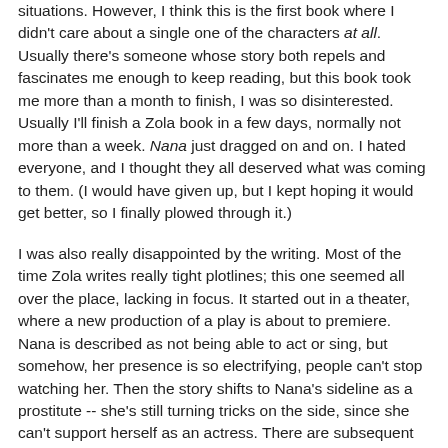situations.  However, I think this is the first book where I didn't care about a single one of the characters at all.  Usually there's someone whose story both repels and fascinates me enough to keep reading, but this book took me more than a month to finish, I was so disinterested.  Usually I'll finish a Zola book in a few days, normally not more than a week.  Nana just dragged on and on.  I hated everyone, and I thought they all deserved what was coming to them.  (I would have given up, but I kept hoping it would get better, so I finally plowed through it.)
I was also really disappointed by the writing.  Most of the time Zola writes really tight plotlines; this one seemed all over the place, lacking in focus. It started out in a theater, where a new production of a play is about to premiere.  Nana is described as not being able to act or sing, but somehow, her presence is so electrifying, people can't stop watching her.  Then the story shifts to Nana's sideline as a prostitute -- she's still turning tricks on the side, since she can't support herself as an actress.  There are subsequent chapters about Nana's love affair with a count, and how she essentially ruins his life.  The only chapter I actually liked is one where Nana